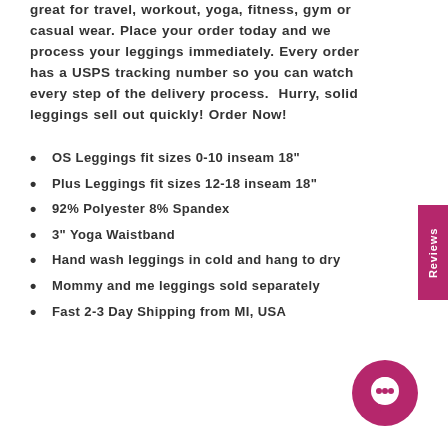great for travel, workout, yoga, fitness, gym or casual wear. Place your order today and we process your leggings immediately. Every order has a USPS tracking number so you can watch every step of the delivery process.  Hurry, solid leggings sell out quickly! Order Now!
OS Leggings fit sizes 0-10 inseam 18"
Plus Leggings fit sizes 12-18 inseam 18"
92% Polyester 8% Spandex
3" Yoga Waistband
Hand wash leggings in cold and hang to dry
Mommy and me leggings sold separately
Fast 2-3 Day Shipping from MI, USA